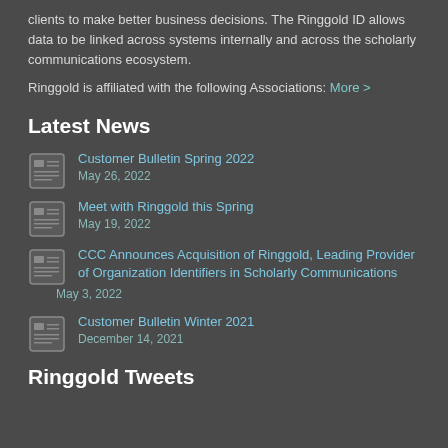clients to make better business decisions. The Ringgold ID allows data to be linked across systems internally and across the scholarly communications ecosystem.
Ringgold is affiliated with the following Associations: More >
Latest News
Customer Bulletin Spring 2022
May 26, 2022
Meet with Ringgold this Spring
May 19, 2022
CCC Announces Acquisition of Ringgold, Leading Provider of Organization Identifiers in Scholarly Communications
May 3, 2022
Customer Bulletin Winter 2021
December 14, 2021
Ringgold Tweets